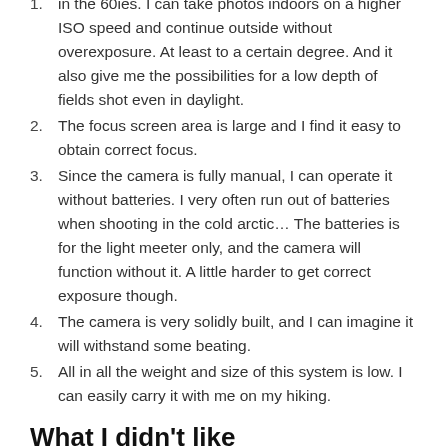in the 60ies. I can take photos indoors on a higher ISO speed and continue outside without overexposure. At least to a certain degree. And it also give me the possibilities for a low depth of fields shot even in daylight.
The focus screen area is large and I find it easy to obtain correct focus.
Since the camera is fully manual, I can operate it without batteries. I very often run out of batteries when shooting in the cold arctic… The batteries is for the light meeter only, and the camera will function without it. A little harder to get correct exposure though.
The camera is very solidly built, and I can imagine it will withstand some beating.
All in all the weight and size of this system is low. I can easily carry it with me on my hiking.
What I didn't like
Well, actually I can't pinpoint any major problem with this camera system. But I can say that his camera is not for the person who